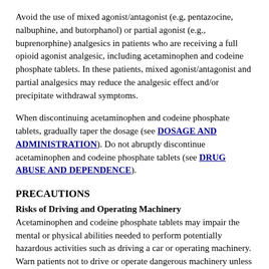Avoid the use of mixed agonist/antagonist (e.g, pentazocine, nalbuphine, and butorphanol) or partial agonist (e.g., buprenorphine) analgesics in patients who are receiving a full opioid agonist analgesic, including acetaminophen and codeine phosphate tablets. In these patients, mixed agonist/antagonist and partial analgesics may reduce the analgesic effect and/or precipitate withdrawal symptoms.
When discontinuing acetaminophen and codeine phosphate tablets, gradually taper the dosage (see DOSAGE AND ADMINISTRATION). Do not abruptly discontinue acetaminophen and codeine phosphate tablets (see DRUG ABUSE AND DEPENDENCE).
PRECAUTIONS
Risks of Driving and Operating Machinery
Acetaminophen and codeine phosphate tablets may impair the mental or physical abilities needed to perform potentially hazardous activities such as driving a car or operating machinery. Warn patients not to drive or operate dangerous machinery unless they are tolerant to the effects of acetaminophen and codeine phosphate tablets and know how they will react to the medication (see PRECAUTIONS: